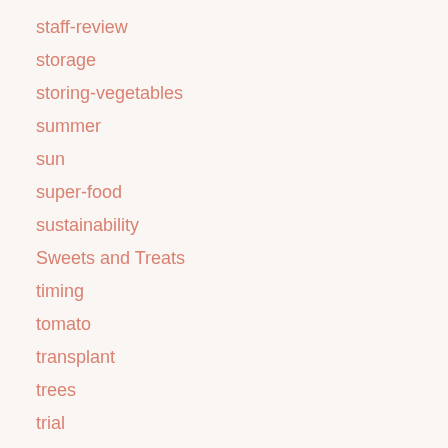staff-review
storage
storing-vegetables
summer
sun
super-food
sustainability
Sweets and Treats
timing
tomato
transplant
trees
trial
trials